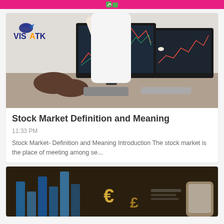VISATK
[Figure (photo): Two people at a desk looking at stock market charts on computer monitors; one person pointing at the screen. VISATK logo visible in upper left of image.]
Stock Market Definition and Meaning
11:33 PM
Stock Market- Definition and Meaning Introduction The stock market is the place of meeting among se...
[Figure (photo): Blurred photo of financial charts with currency symbols (€, £) visible on a dark background, with a person's hand holding a smartphone.]